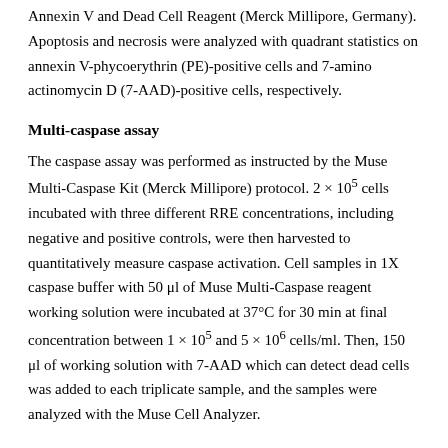Annexin V and Dead Cell Reagent (Merck Millipore, Germany). Apoptosis and necrosis were analyzed with quadrant statistics on annexin V-phycoerythrin (PE)-positive cells and 7-amino actinomycin D (7-AAD)-positive cells, respectively.
Multi-caspase assay
The caspase assay was performed as instructed by the Muse Multi-Caspase Kit (Merck Millipore) protocol. 2 × 10⁵ cells incubated with three different RRE concentrations, including negative and positive controls, were then harvested to quantitatively measure caspase activation. Cell samples in 1X caspase buffer with 50 μl of Muse Multi-Caspase reagent working solution were incubated at 37°C for 30 min at final concentration between 1 × 10⁵ and 5 × 10⁶ cells/ml. Then, 150 μl of working solution with 7-AAD which can detect dead cells was added to each triplicate sample, and the samples were analyzed with the Muse Cell Analyzer.
Cell cycle analysis
Cell cycle analysis was carried out with Muse™ Cell Cycle Kit (Merck Millipore) according to the manufacturer's instructions. To determine the effect of RRE on the cell cycle, cells were seeded in 6-well plates at a density of 1 × 10⁵ cells/ml